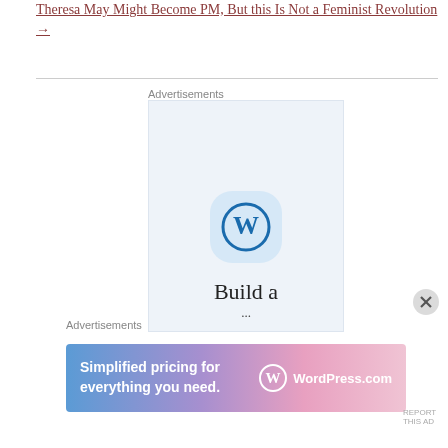Theresa May Might Become PM, But this Is Not a Feminist Revolution →
Advertisements
[Figure (illustration): WordPress advertisement: light blue rectangle with WordPress logo (W in circle) and text 'Build a' visible at bottom]
Advertisements
[Figure (illustration): WordPress banner ad with gradient background (blue to pink): 'Simplified pricing for everything you need.' with WordPress.com logo]
REPORT THIS AD